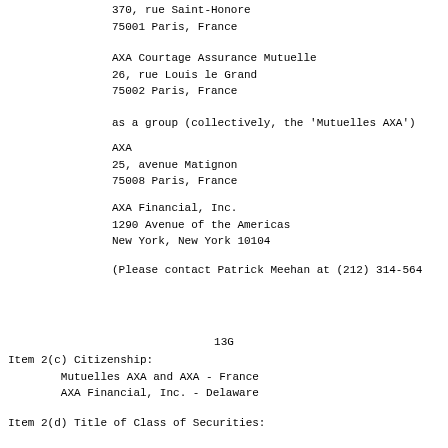370, rue Saint-Honore
75001 Paris, France
AXA Courtage Assurance Mutuelle
26, rue Louis le Grand
75002 Paris, France
as a group (collectively, the 'Mutuelles AXA')
AXA
25, avenue Matignon
75008 Paris, France
AXA Financial, Inc.
1290 Avenue of the Americas
New York, New York 10104
(Please contact Patrick Meehan at (212) 314-564
13G
Item 2(c) Citizenship:
        Mutuelles AXA and AXA - France
        AXA Financial, Inc. - Delaware
Item 2(d) Title of Class of Securities: